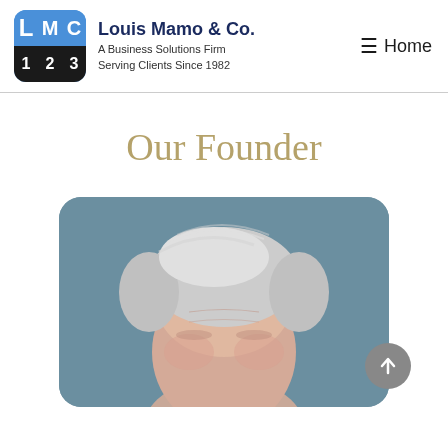Louis Mamo & Co. — A Business Solutions Firm Serving Clients Since 1982 — Home
Our Founder
[Figure (photo): Portrait photo of the founder, an older man with white/grey hair, shown from forehead to chin level against a grey-blue background, in a rounded-corner image frame.]